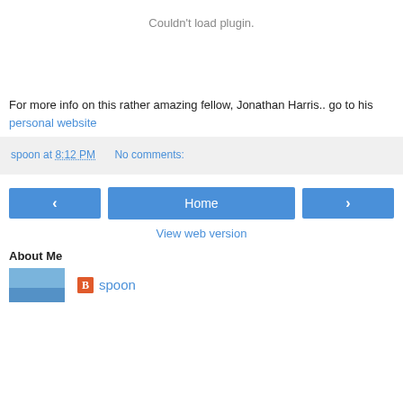Couldn't load plugin.
For more info on this rather amazing fellow, Jonathan Harris.. go to his personal website
spoon at 8:12 PM    No comments:
[Figure (infographic): Navigation buttons: left arrow, Home, right arrow]
View web version
About Me
[Figure (photo): Small profile photo thumbnail and blogger icon with username spoon]